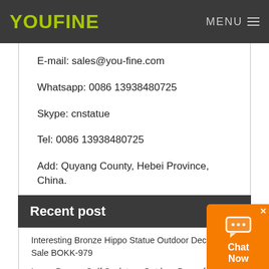YOUFINE   MENU
E-mail: sales@you-fine.com
Whatsapp: 0086 13938480725
Skype: cnstatue
Tel: 0086 13938480725
Add: Quyang County, Hebei Province, China.
Recent post
Interesting Bronze Hippo Statue Outdoor Decor for Sale BOKK-979
Large Bronze Golf Sculpture Outdoor Decor for Sale BOK1-
High Quality Bronze Ancient Hercules Statue for Sale BOKK-995
Life Size Bronze Mary Statue Religious Decor Manufacturer BOK1-253